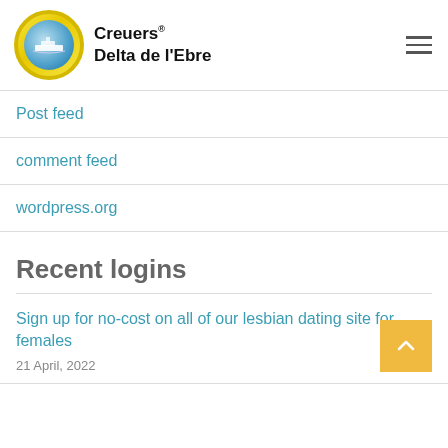Creuers Delta de l'Ebre
Post feed
comment feed
wordpress.org
Recent logins
Sign up for no-cost on all of our lesbian dating site for females
21 April, 2022